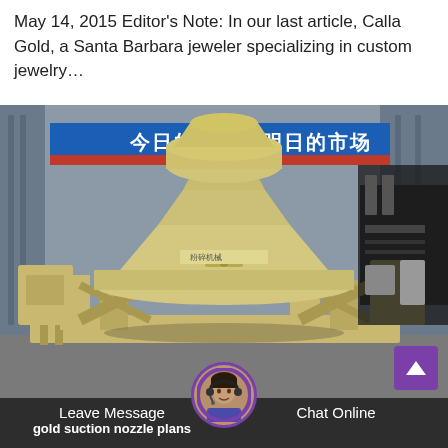May 14, 2015 Editor's Note: In our last article, Calla Gold, a Santa Barbara jeweler specializing in custom jewelry…
[Figure (photo): Large yellow industrial cone crusher / sand-making machine inside a factory, with a blue Chinese banner reading '今日的质量 明日的市场' (Today's quality, tomorrow's market). Factory setting with steel structure visible.]
Leave Message   Chat Online
gold suction nozzle plans